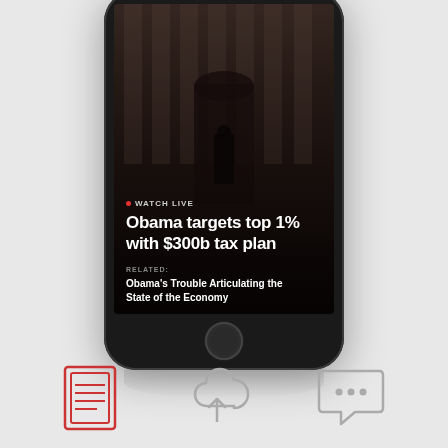[Figure (screenshot): Smartphone screenshot showing a news app with a live coverage headline: 'Obama targets top 1% with $300b tax plan' and a related story 'Obama's Trouble Articulating the State of the Economy'. The phone screen shows the White House in the background.]
[Figure (illustration): Three icons at the bottom: a red document/list icon on the left, a gray cloud upload icon in the center, and a gray speech bubble with dots (chat) icon on the right.]